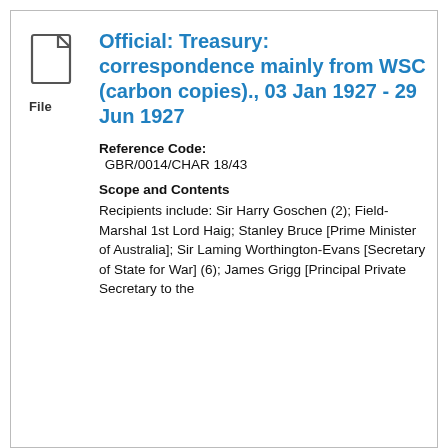[Figure (illustration): File icon: document/page outline with folded corner, labeled 'File' below]
Official: Treasury: correspondence mainly from WSC (carbon copies)., 03 Jan 1927 - 29 Jun 1927
Reference Code: GBR/0014/CHAR 18/43
Scope and Contents
Recipients include: Sir Harry Goschen (2); Field-Marshal 1st Lord Haig; Stanley Bruce [Prime Minister of Australia]; Sir Laming Worthington-Evans [Secretary of State for War] (6); James Grigg [Principal Private Secretary to the